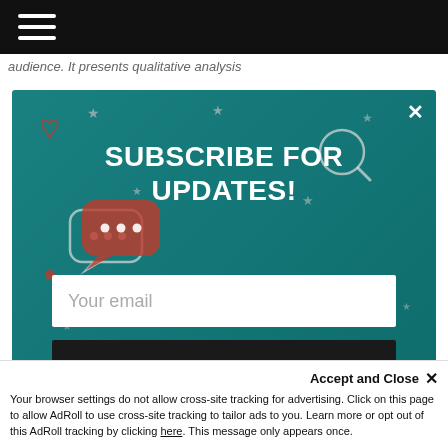audience. It presents qualitative analysis
[Figure (screenshot): Subscribe for Updates modal popup with teal/dark-teal background, social media icons (Instagram, Twitter, Snapchat, Facebook, YouTube, heart, speech bubble, magnifier, smiley, email, phone), white text 'SUBSCRIBE FOR UPDATES!', email input field placeholder 'Your email', and a dark 'Submit!' button. Close button (x) in top-right corner.]
Accept and Close ✕
Your browser settings do not allow cross-site tracking for advertising. Click on this page to allow AdRoll to use cross-site tracking to tailor ads to you. Learn more or opt out of this AdRoll tracking by clicking here. This message only appears once.